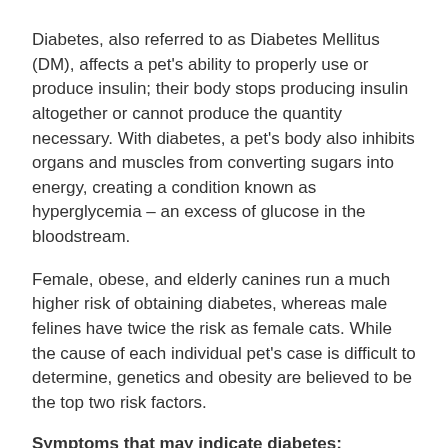Diabetes, also referred to as Diabetes Mellitus (DM), affects a pet’s ability to properly use or produce insulin; their body stops producing insulin altogether or cannot produce the quantity necessary. With diabetes, a pet’s body also inhibits organs and muscles from converting sugars into energy, creating a condition known as hyperglycemia – an excess of glucose in the bloodstream.
Female, obese, and elderly canines run a much higher risk of obtaining diabetes, whereas male felines have twice the risk as female cats. While the cause of each individual pet’s case is difficult to determine, genetics and obesity are believed to be the top two risk factors.
Symptoms that may indicate diabetes:
Anorexia
Continuing partially obscured text (cut off)